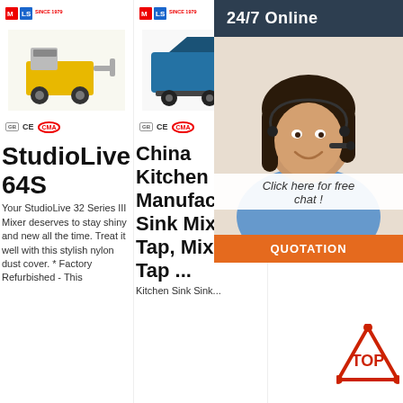[Figure (photo): Yellow mortar/grout pump machine with wheels, MLE logo, CE and CMA certifications]
StudioLive 64S
Your StudioLive 32 Series III Mixer deserves to stay shiny and new all the time. Treat it well with this stylish nylon dust cover. * Factory Refurbished - This
[Figure (photo): Blue concrete/mortar pump machine, MLE logo, CE and CMA certifications]
China Kitchen Sink Manufacturers, Sink Mixer Tap, Mixer Tap ...
[Figure (photo): Yellow-green concrete mixer truck with motor, MLE logo, certification badges]
Concrete Mixer Truck Latest Price ...
[Figure (photo): 24/7 Online - Customer service agent woman with headset smiling, with Click here for free chat and QUOTATION button overlay]